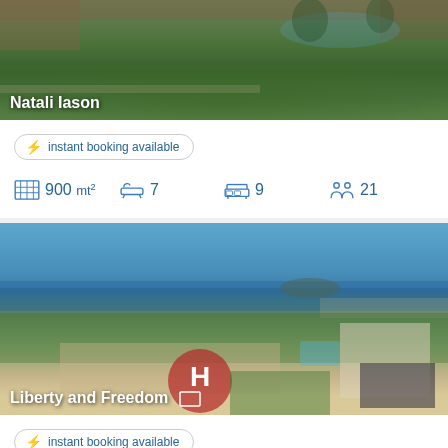[Figure (photo): Aerial/ground view of villa Natali Iason with green lawn, pool and stone structures]
Natali Iason
instant booking available
900 mt²  7  9  21
[Figure (photo): Aerial drone view of villa Liberty and Freedom with tennis court, helipad, pool and sea view]
Liberty and Freedom
instant booking available